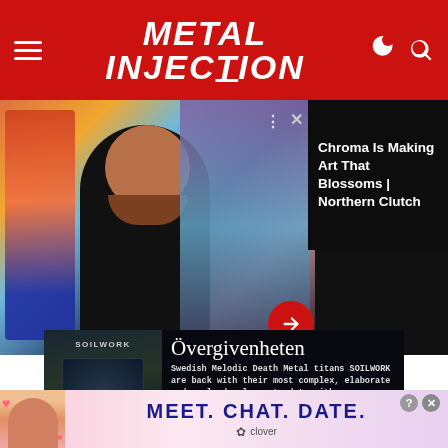Metal Injection
[Figure (photo): Website screenshot showing Metal Injection header with hamburger menu, Metal Injection logo in white italic text on red background, and moon/search icons. Below is a hero image of a smiling man in black shirt with colorful artwork in background, and a side panel with text 'Chroma Is Making Art That Blossoms | Northern Clutch']
Chroma Is Making Art That Blossoms | Northern Clutch
[Figure (screenshot): Advertisement for Soilwork album 'Övergivenheten' on Nuclear Blast Records. Dark background with album artwork on left. Text reads: Swedish Melodic Death Metal titans SOILWORK are back with their most complex, elaborate and evolved release to date with "Övergivenheten". Out Now]
"Clearly we have struck a nerve and are very eager to create music that ___ear, artists ___ ece.
[Figure (screenshot): Bottom advertisement overlay: 'MEET. CHAT. DATE.' in dark blue bold text on pink/light background with woman photo on left, Clover branding, and close (X) and help (?) buttons in top right]